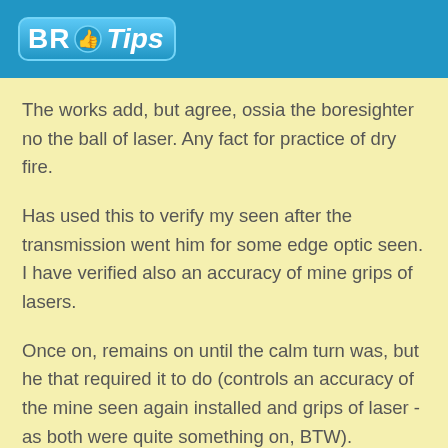BR Tips
The works add, but agree, ossia the boresighter no the ball of laser. Any fact for practice of dry fire.
Has used this to verify my seen after the transmission went him for some edge optic seen. I have verified also an accuracy of mine grips of lasers.
Once on, remains on until the calm turn was, but he that required it to do (controls an accuracy of the mine seen again installed and grips of laser - as both were quite something on, BTW).